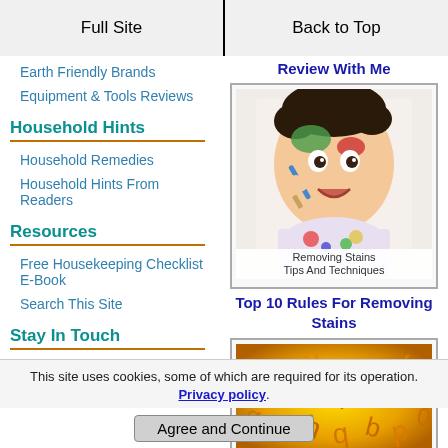Full Site | Back to Top
Earth Friendly Brands
Equipment & Tools Reviews
Household Hints
Household Remedies
Household Hints From Readers
Resources
Free Housekeeping Checklist E-Book
Search This Site
Stay In Touch
Out Darn Spot! Newsletter
Contact Me
Review With Me
[Figure (photo): Child with paint on face holding a paintbrush, with text 'Removing Stains Tips And Techniques']
Top 10 Rules For Removing Stains
[Figure (photo): Orange and yellow alphabet letters scattered background]
This site uses cookies, some of which are required for its operation. Privacy policy.
Agree and Continue